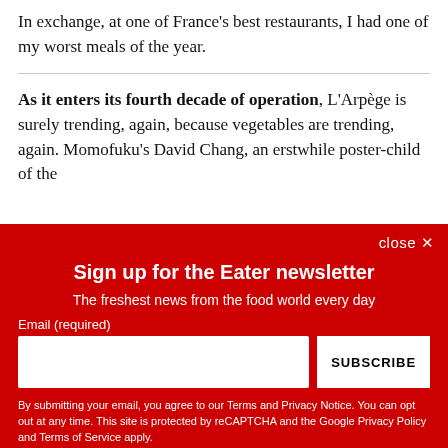In exchange, at one of France's best restaurants, I had one of my worst meals of the year.
As it enters its fourth decade of operation, L'Arpège is surely trending, again, because vegetables are trending, again. Momofuku's David Chang, an erstwhile poster-child of the
close ×
Sign up for the Eater newsletter
The freshest news from the food world every day
Email (required)
SUBSCRIBE
By submitting your email, you agree to our Terms and Privacy Notice. You can opt out at any time. This site is protected by reCAPTCHA and the Google Privacy Policy and Terms of Service apply.